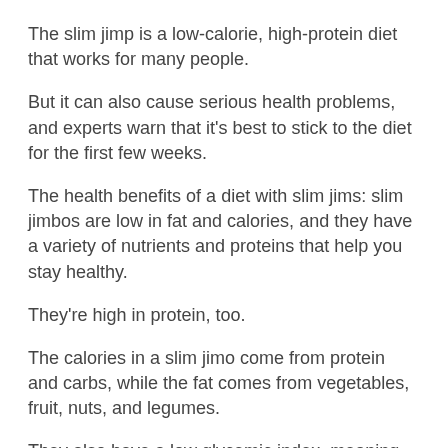The slim jimp is a low-calorie, high-protein diet that works for many people.
But it can also cause serious health problems, and experts warn that it's best to stick to the diet for the first few weeks.
The health benefits of a diet with slim jims: slim jimbos are low in fat and calories, and they have a variety of nutrients and proteins that help you stay healthy.
They're high in protein, too.
The calories in a slim jimo come from protein and carbs, while the fat comes from vegetables, fruit, nuts, and legumes.
They also have a low glycemic index, meaning they help you eat more easily.
A slim jobo can help you lose up to 40 pounds in three